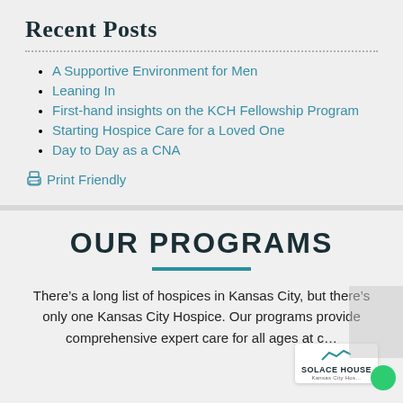Recent Posts
A Supportive Environment for Men
Leaning In
First-hand insights on the KCH Fellowship Program
Starting Hospice Care for a Loved One
Day to Day as a CNA
Print Friendly
OUR PROGRAMS
There’s a long list of hospices in Kansas City, but there’s only one Kansas City Hospice. Our programs provide comprehensive expert care for all ages at c…